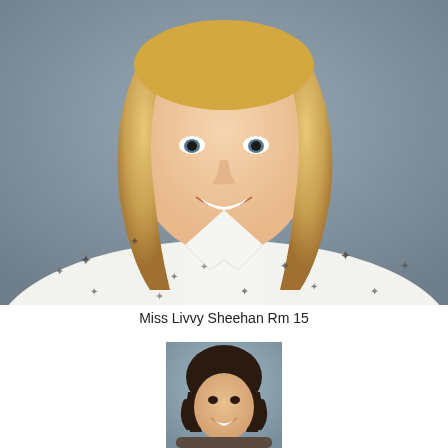[Figure (photo): Headshot portrait of a smiling woman with blonde wavy hair, wearing a white blouse with small star pattern, photographed against a grey-blue background]
Miss Livvy Sheehan Rm 15
[Figure (photo): Headshot portrait of a smiling woman with dark curly hair, photographed against a blue-grey background, cropped at bottom of page]